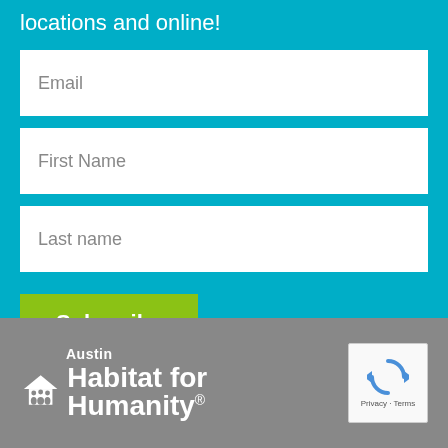locations and online!
Email
First Name
Last name
Subscribe
[Figure (logo): Austin Habitat for Humanity logo in white with house/people icon, with reCAPTCHA badge showing arrows icon and Privacy · Terms text]